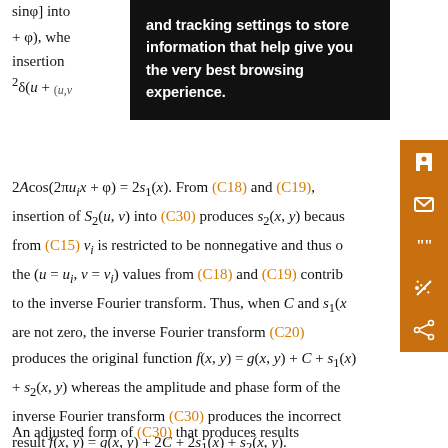sinφ] into ... (2πu_i x + φ), whe ... insertion ... (A/2 ... ^2δ(u + ...
and tracking settings to store information that help give you the very best browsing experience.
2Acos(2πu_i x + φ) = 2s_1(x). From (C18) and (C19), insertion of S_2(u, v) into (C30) produces s_2(x, y) because from (C15) v_i is restricted to be nonnegative and thus only the (u = u_i, v = v_i) values from (C18) and (C19) contribute to the inverse Fourier transform. Thus, when C and s_1(x) are not zero, the inverse Fourier transform (C20) produces the original function f(x, y) = g(x, y) + C + s_1(x) + s_2(x, y) whereas the amplitude and phase form of the inverse Fourier transform (C30) produces the incorrect result f(x, y) = g(x, y) + 2C + 2s_1(x) + s_2(x, y).
An adjusted form of (C30) that produces results